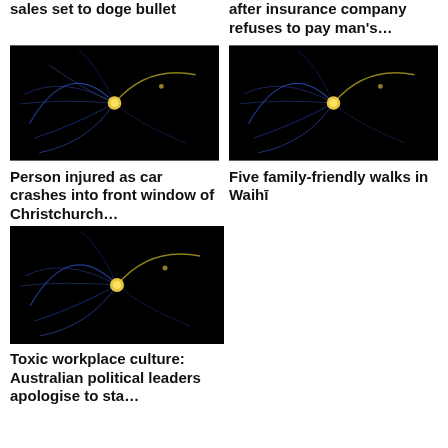sales set to doge bullet
after insurance company refuses to pay man's…
[Figure (photo): Dark background image with blue curved light trails and a yellow glowing dot, space/physics visualization]
[Figure (photo): Dark background image with blue curved light trails and a yellow glowing dot, space/physics visualization]
Person injured as car crashes into front window of Christchurch…
Five family-friendly walks in Waihī
[Figure (photo): Dark background image with blue curved light trails and a yellow glowing dot, space/physics visualization]
Toxic workplace culture: Australian political leaders apologise to sta…